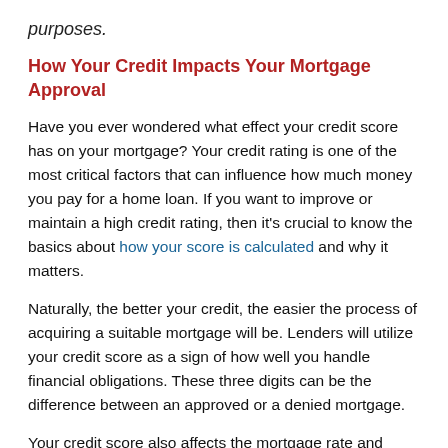purposes.
How Your Credit Impacts Your Mortgage Approval
Have you ever wondered what effect your credit score has on your mortgage? Your credit rating is one of the most critical factors that can influence how much money you pay for a home loan. If you want to improve or maintain a high credit rating, then it's crucial to know the basics about how your score is calculated and why it matters.
Naturally, the better your credit, the easier the process of acquiring a suitable mortgage will be. Lenders will utilize your credit score as a sign of how well you handle financial obligations. These three digits can be the difference between an approved or a denied mortgage.
Your credit score also affects the mortgage rate and terms of your mortgage. If you have a higher credit score, you may receive a lower interest rate or flexible repayment terms.